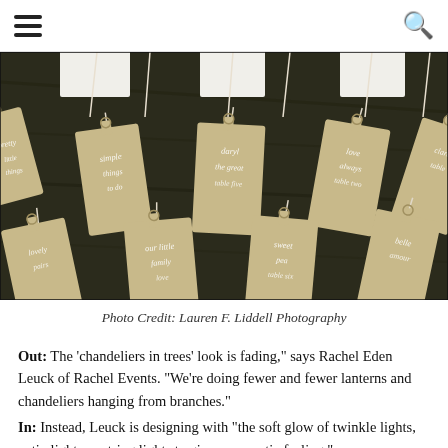[hamburger menu] [search icon]
[Figure (photo): Close-up photograph of kraft paper luggage tags with white calligraphy script, hanging by white string against a dark wood background. Tags are arranged in rows and partially visible at the edges.]
Photo Credit: Lauren F. Liddell Photography
Out: The 'chandeliers in trees' look is fading," says Rachel Eden Leuck of Rachel Events. "We're doing fewer and fewer lanterns and chandeliers hanging from branches."
In: Instead, Leuck is designing with "the soft glow of twinkle lights, patio lights or string lights to give a romantic feeling."